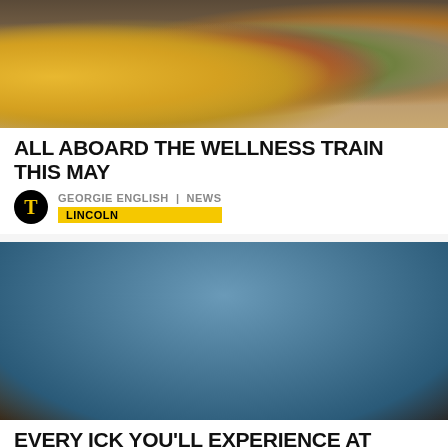[Figure (photo): Close-up photo of a table with yarn balls, knitting supplies, and glasses of orange juice]
ALL ABOARD THE WELLNESS TRAIN THIS MAY
GEORGIE ENGLISH | NEWS
LINCOLN
[Figure (photo): Person running away from a Canada goose near a waterfront in Lincoln]
EVERY ICK YOU'LL EXPERIENCE AT LINCOLN UNI